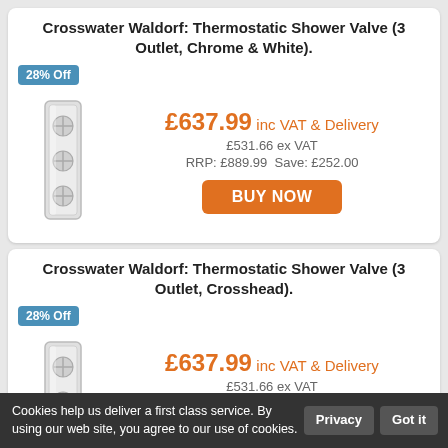Crosswater Waldorf: Thermostatic Shower Valve (3 Outlet, Chrome & White).
28% Off
[Figure (photo): Chrome thermostatic shower valve with three crosshead controls]
£637.99 inc VAT & Delivery
£531.66 ex VAT
RRP: £889.99  Save: £252.00
BUY NOW
Crosswater Waldorf: Thermostatic Shower Valve (3 Outlet, Crosshead).
28% Off
[Figure (photo): Chrome thermostatic shower valve with three crosshead controls, Crosshead variant]
£637.99 inc VAT & Delivery
£531.66 ex VAT
RRP: £889.99  Save: £252.00
BUY NOW
Cookies help us deliver a first class service. By using our web site, you agree to our use of cookies. Privacy  Got it